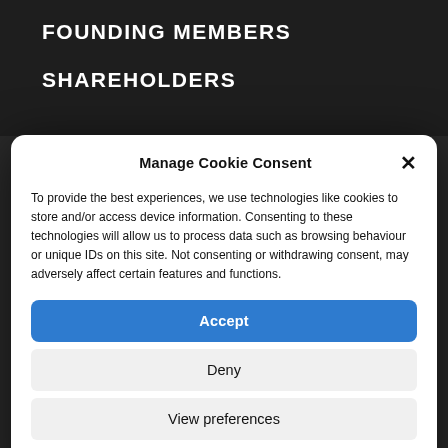FOUNDING MEMBERS
SHAREHOLDERS
Manage Cookie Consent
To provide the best experiences, we use technologies like cookies to store and/or access device information. Consenting to these technologies will allow us to process data such as browsing behaviour or unique IDs on this site. Not consenting or withdrawing consent, may adversely affect certain features and functions.
Accept
Deny
View preferences
Cookies Policy   Privacy Policy